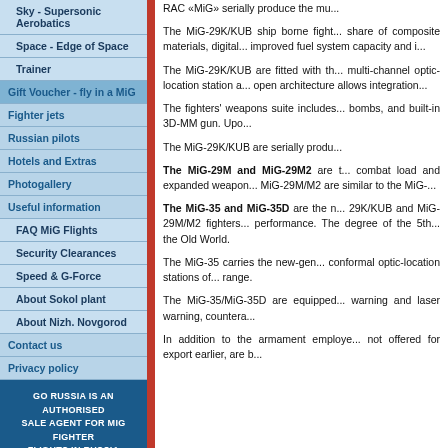Sky - Supersonic Aerobatics
Space - Edge of Space
Trainer
Gift Voucher - fly in a MiG
Fighter jets
Russian pilots
Hotels and Extras
Photogallery
Useful information
FAQ MiG Flights
Security Clearances
Speed & G-Force
About Sokol plant
About Nizh. Novgorod
Contact us
Privacy policy
GO RUSSIA IS AN AUTHORISED SALE AGENT FOR MIG FIGHTER FLIGHTS IN RUSSIA
[Figure (illustration): Illustration of a MiG fighter jet (blue, number 003) at Sokol plant on a golden/tan background]
RAC «MiG» serially produce the mu...
The MiG-29K/KUB ship borne fight... share of composite materials, digital... improved fuel system capacity and i...
The MiG-29K/KUB are fitted with th... multi-channel optic-location station a... open architecture allows integration...
The fighters' weapons suite includes... bombs, and built-in 3D-MM gun. Upo...
The MiG-29K/KUB are serially produ...
The MiG-29M and MiG-29M2 are t... combat load and expanded weapon... MiG-29M/M2 are similar to the MiG-...
The MiG-35 and MiG-35D are the n... 29K/KUB and MiG-29M/M2 fighters... performance. The degree of the 5th... the Old World.
The MiG-35 carries the new-gen... conformal optic-location stations of... range.
The MiG-35/MiG-35D are equipped... warning and laser warning, countera...
In addition to the armament employe... not offered for export earlier, are b...